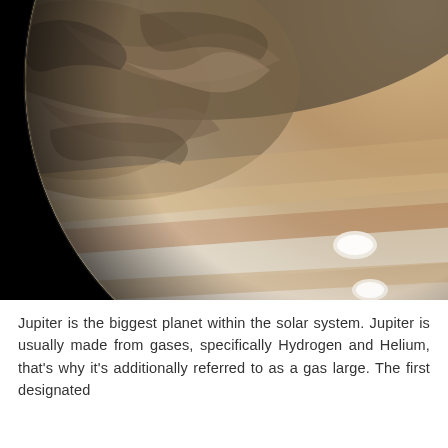[Figure (photo): Close-up photograph of Jupiter showing its swirling cloud bands in tan, brown, and white tones against a black space background. Several white oval storm systems are visible on the planet's southern hemisphere.]
Jupiter is the biggest planet within the solar system. Jupiter is usually made from gases, specifically Hydrogen and Helium, that's why it's additionally referred to as a gas large. The first designated